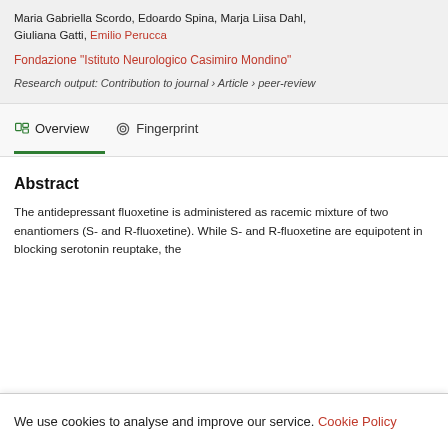Maria Gabriella Scordo, Edoardo Spina, Marja Liisa Dahl, Giuliana Gatti, Emilio Perucca
Fondazione "Istituto Neurologico Casimiro Mondino"
Research output: Contribution to journal › Article › peer-review
Overview   Fingerprint
Abstract
The antidepressant fluoxetine is administered as racemic mixture of two enantiomers (S- and R-fluoxetine). While S- and R-fluoxetine are equipotent in blocking serotonin reuptake, the
We use cookies to analyse and improve our service. Cookie Policy